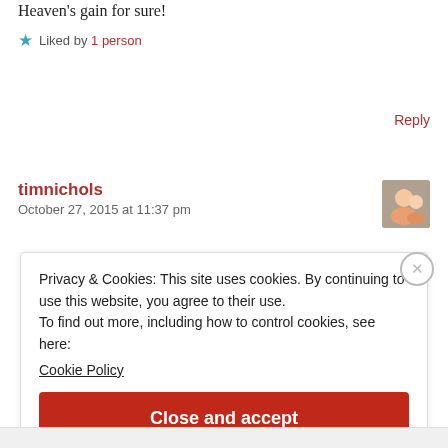Heaven's gain for sure!
Liked by 1 person
Reply
timnichols
October 27, 2015 at 11:37 pm
Privacy & Cookies: This site uses cookies. By continuing to use this website, you agree to their use.
To find out more, including how to control cookies, see here:
Cookie Policy
Close and accept